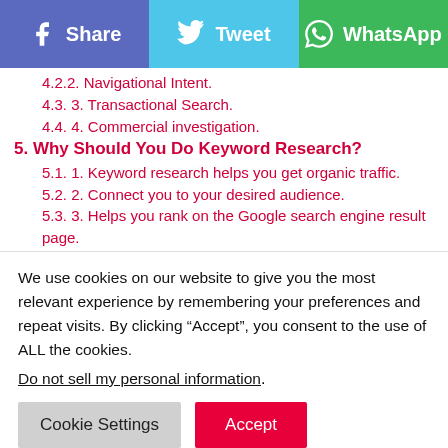[Figure (screenshot): Social share buttons: Facebook Share (purple-blue), Tweet (light blue), WhatsApp (green)]
4.2.2. Navigational Intent. (truncated/partial)
4.3. 3. Transactional Search.
4.4. 4. Commercial investigation.
5. Why Should You Do Keyword Research?
5.1. 1. Keyword research helps you get organic traffic.
5.2. 2. Connect you to your desired audience.
5.3. 3. Helps you rank on the Google search engine result page. (partial)
We use cookies on our website to give you the most relevant experience by remembering your preferences and repeat visits. By clicking “Accept”, you consent to the use of ALL the cookies.
Do not sell my personal information.